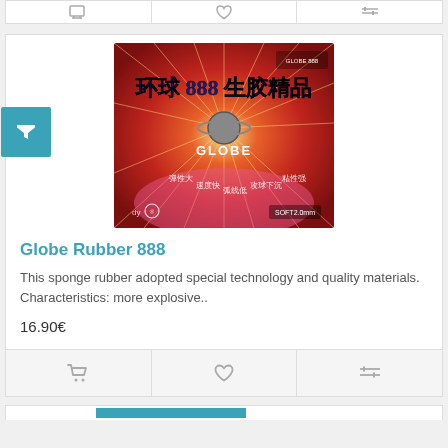[Figure (photo): Globe Rubber 888 table tennis rubber product packaging image with Chinese text and planet logo on red/orange starburst background]
Globe Rubber 888
This sponge rubber adopted special technology and quality materials. Characteristics: more explosive..
16.90€